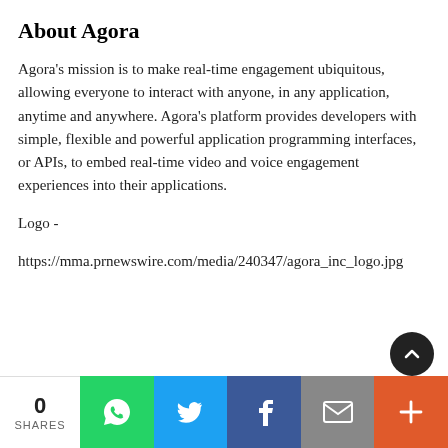About Agora
Agora’s mission is to make real-time engagement ubiquitous, allowing everyone to interact with anyone, in any application, anytime and anywhere. Agora’s platform provides developers with simple, flexible and powerful application programming interfaces, or APIs, to embed real-time video and voice engagement experiences into their applications.
Logo -
https://mma.prnewswire.com/media/240347/agora_inc_logo.jpg
0 SHARES | WhatsApp | Twitter | Facebook | Email | More